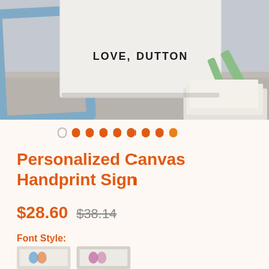[Figure (photo): Product photo of a white block sign reading 'LOVE, DUTTON' with a blue picture frame on the left and green decorative items on the right, sitting on a wooden surface]
[Figure (infographic): Carousel navigation dots: one empty circle followed by eight filled orange dots]
Personalized Canvas Handprint Sign
$28.60  $38.14
Font Style:
[Figure (photo): Two small thumbnail images showing font style options for the handprint sign product]